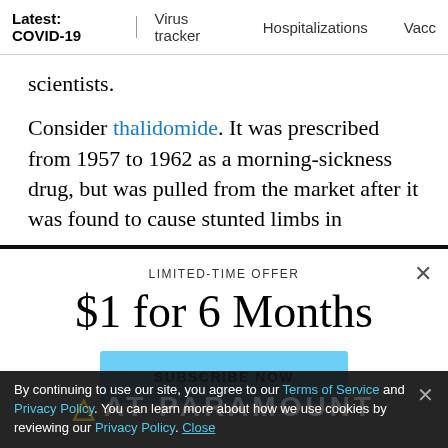Latest: COVID-19 | Virus tracker | Hospitalizations | Vacc...
scientists.
Consider thalidomide. It was prescribed from 1957 to 1962 as a morning-sickness drug, but was pulled from the market after it was found to cause stunted limbs in
LIMITED-TIME OFFER
$1 for 6 Months
SUBSCRIBE NOW
By continuing to use our site, you agree to our Terms of Service and Privacy Policy. You can learn more about how we use cookies by reviewing our Privacy Policy. Close